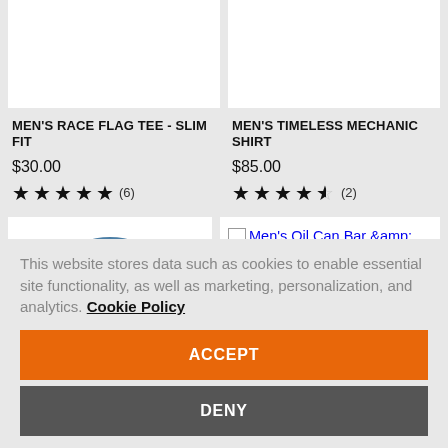[Figure (photo): Product image area for Men's Race Flag Tee - white background]
[Figure (photo): Product image area for Men's Timeless Mechanic Shirt - white background]
MEN'S RACE FLAG TEE - SLIM FIT
$30.00
★★★★★ (6)
MEN'S TIMELESS MECHANIC SHIRT
$85.00
★★★★☆ (2)
[Figure (photo): Blue polo shirt with red collar and number 1 patch]
[Figure (photo): Broken image link for Men's Oil Can Bar & Shield Patch Plaid Shirt]
This website stores data such as cookies to enable essential site functionality, as well as marketing, personalization, and analytics. Cookie Policy
ACCEPT
DENY